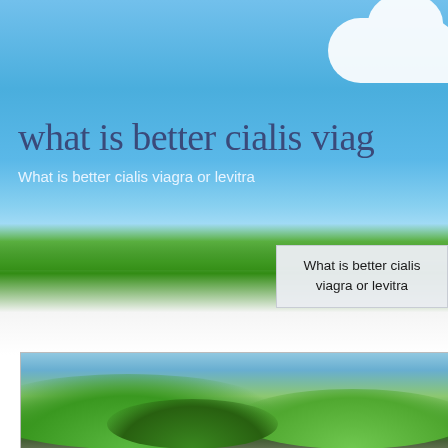[Figure (photo): Banner image with blue sky, white cloud, and green grass landscape. Large heading text overlay: 'what is better cialis viag...' with subtitle 'What is better cialis viagra or levitra']
What is better cialis viagra or levitra
[Figure (photo): Thumbnail image of green rolling hills landscape with blue sky]